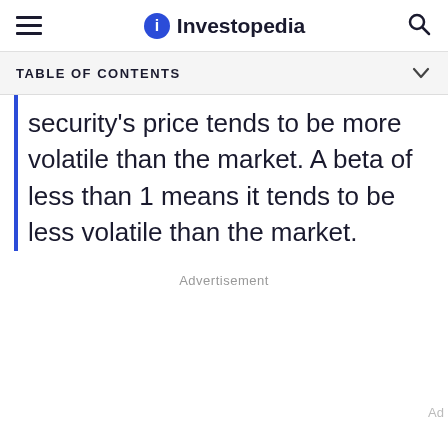Investopedia
TABLE OF CONTENTS
security's price tends to be more volatile than the market. A beta of less than 1 means it tends to be less volatile than the market.
Advertisement
Ad